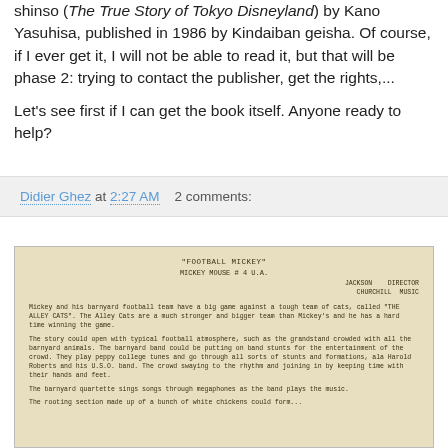shinso (The True Story of Tokyo Disneyland) by Kano Yasuhisa, published in 1986 by Kindaiban geisha. Of course, if I ever get it, I will not be able to read it, but that will be phase 2: trying to contact the publisher, get the rights,...
Let's see first if I can get the book itself. Anyone ready to help?
Didier Ghez at 2:27 AM   2 comments:
[Figure (photo): Scanned vintage typewritten document titled 'FOOTBALL MICKEY', Mickey Mouse #4 U.A., with credits to Jackson (Director) and Churchill (Music). The document describes a story about Mickey and his barnyard football team playing against the Alley Cats.]